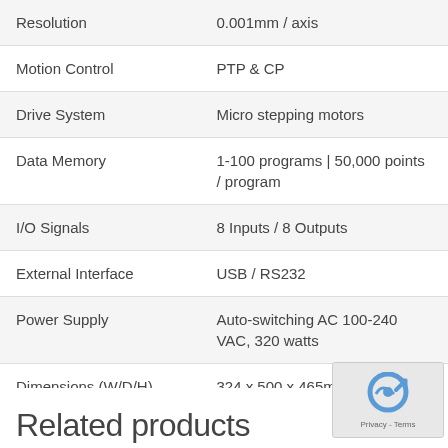| Specification | Value |
| --- | --- |
| Resolution | 0.001mm / axis |
| Motion Control | PTP & CP |
| Drive System | Micro stepping motors |
| Data Memory | 1-100 programs | 50,000 points / program |
| I/O Signals | 8 Inputs / 8 Outputs |
| External Interface | USB / RS232 |
| Power Supply | Auto-switching AC 100-240 VAC, 320 watts |
| Dimensions (W/D/H) | 324 x 500 x 465mm |
| Weight | 20kg |
Related products